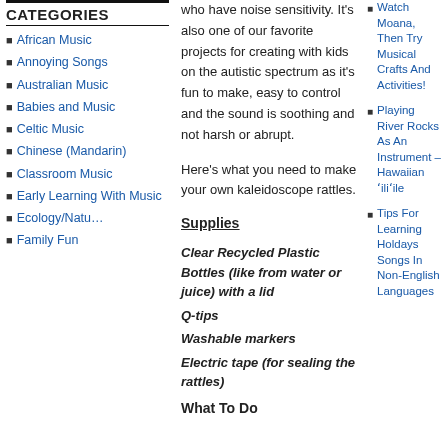CATEGORIES
African Music
Annoying Songs
Australian Music
Babies and Music
Celtic Music
Chinese (Mandarin)
Classroom Music
Early Learning With Music
Ecology/Natu…
Family Fun
who have noise sensitivity. It's also one of our favorite projects for creating with kids on the autistic spectrum as it's fun to make, easy to control and the sound is soothing and not harsh or abrupt.
Here's what you need to make your own kaleidoscope rattles.
Supplies
Clear Recycled Plastic Bottles (like from water or juice) with a lid
Q-tips
Washable markers
Electric tape (for sealing the rattles)
What To Do
Watch Moana, Then Try Musical Crafts And Activities!
Playing River Rocks As An Instrument – Hawaiian ʻiliʻile
Tips For Learning Holdays Songs In Non-English Languages